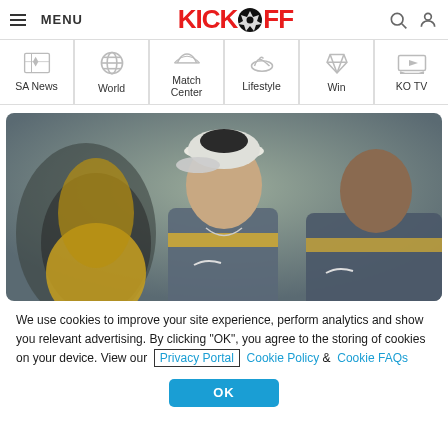KICKOFF — MENU navigation header with search and user icons
SA News
World
Match Center
Lifestyle
Win
KO TV
[Figure (photo): Three football players in grey and yellow Nike training gear, center player wearing a white cap, photographed outdoors]
We use cookies to improve your site experience, perform analytics and show you relevant advertising. By clicking "OK", you agree to the storing of cookies on your device. View our Privacy Portal  Cookie Policy &  Cookie FAQs
OK